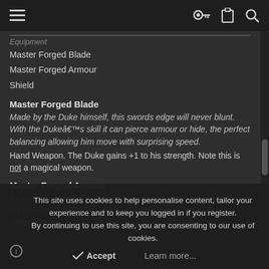≡   🔑  📋  🔍
Equipment
Master Forged Blade
Master Forged Armour
Shield
Master Forged Blade
Made by the Duke himself, this swords edge will never blunt. With the Dukeâs skill it can pierce armour or hide, the perfect balancing allowing him move with surprising speed.
Hand Weapon. The Duke gains +1 to his strength. Note this is not a magical weapon.
Master Forged Armour
As with his sword, the Dukeâs armour has been forged by his own hand. Made of gomril, it is immensely resistant, deflecting all
This site uses cookies to help personalise content, tailor your experience and to keep you logged in if you register.
By continuing to use this site, you are consenting to our use of cookies.